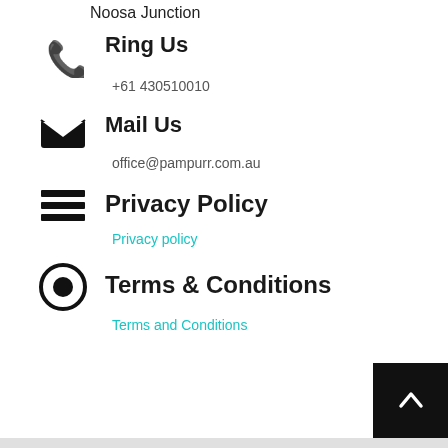Noosa Junction
Ring Us
+61 430510010
Mail Us
office@pampurr.com.au
Privacy Policy
Privacy policy
Terms & Conditions
Terms and Conditions